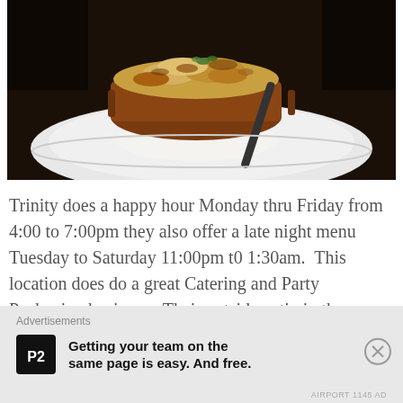[Figure (photo): A baked French onion soup in a brown ceramic crock on a white plate, topped with melted golden-brown cheese and a sprig of herb, with a spoon resting on the plate.]
Trinity does a happy hour Monday thru Friday from 4:00 to 7:00pm they also offer a late night menu Tuesday to Saturday 11:00pm t0 1:30am.  This location does do a great Catering and Party Packaging business.  Their outside patio in the Spring, Summer & Fall is always filled to capacity.  We both started with a
Advertisements
Getting your team on the same page is easy. And free.